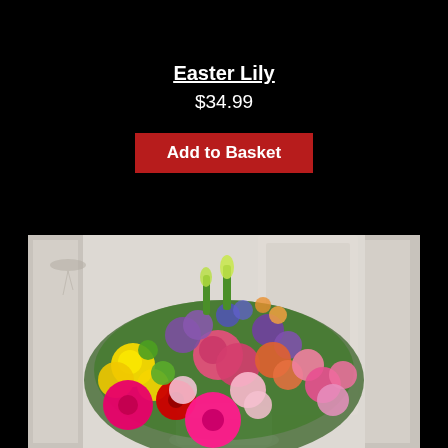Easter Lily
$34.99
Add to Basket
[Figure (photo): A large, colorful flower arrangement featuring roses, gerberas, lilies, and mixed spring flowers in pink, yellow, purple, red, and green, displayed on a white background in what appears to be a formal interior setting.]